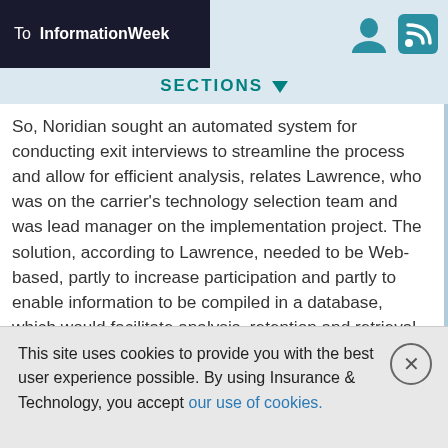To InformationWeek
SECTIONS
So, Noridian sought an automated system for conducting exit interviews to streamline the process and allow for efficient analysis, relates Lawrence, who was on the carrier's technology selection team and was lead manager on the implementation project. The solution, according to Lawrence, needed to be Web-based, partly to increase participation and partly to enable information to be compiled in a database, which would facilitate analysis, retention and retrieval.

The selection team examined products in 2003 and selected Nobscot Corp.'s (Honolulu) WebExit Online Exit Interview Management System. The Web-based subscription service fit
This site uses cookies to provide you with the best user experience possible. By using Insurance & Technology, you accept our use of cookies.